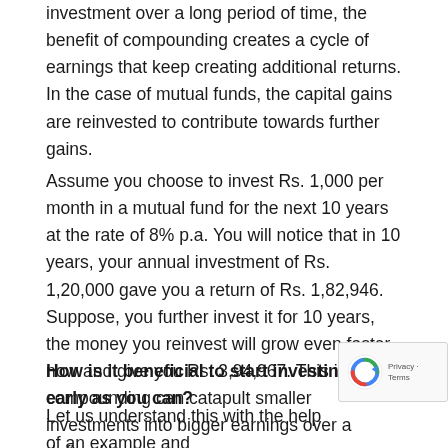investment over a long period of time, the benefit of compounding creates a cycle of earnings that keep creating additional returns. In the case of mutual funds, the capital gains are reinvested to contribute towards further gains.
Assume you choose to invest Rs. 1,000 per month in a mutual fund for the next 10 years at the rate of 8% p.a. You will notice that in 10 years, your annual investment of Rs. 1,20,000 gave you a return of Rs. 1,82,946. Suppose, you further invest it for 10 years, the money you reinvest will grow even faster now and give you Rs. 3,94,967. This is how compounding can catapult smaller investments into bigger earnings over a defined tenure.
How is it beneficial to start investing as early as you can?
Let us understand this with the help of an example and more money through early and timely investments.